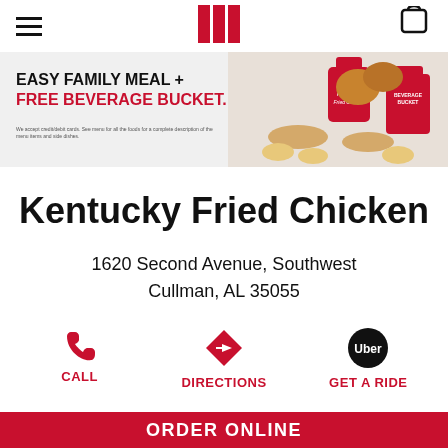KFC Navigation Bar
[Figure (photo): KFC promotional banner: Easy Family Meal + Free Beverage Bucket with food images]
Kentucky Fried Chicken
1620 Second Avenue, Southwest
Cullman, AL 35055
CALL | DIRECTIONS | GET A RIDE
ORDER ONLINE